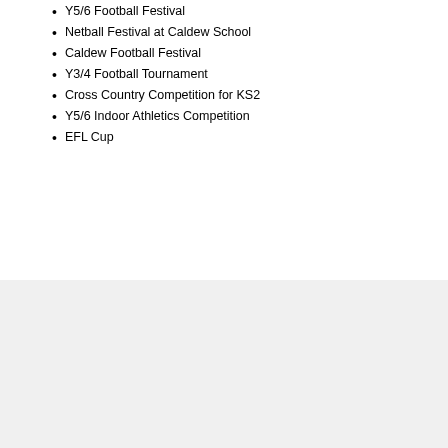Y5/6 Football Festival
Netball Festival at Caldew School
Caldew Football Festival
Y3/4 Football Tournament
Cross Country Competition for KS2
Y5/6 Indoor Athletics Competition
EFL Cup
Some of our achievements this year:
Runners up in EFL Cup 2019
2nd place team in boys' Y5 Carlisle Schools' Cross Country
3rd place team in boys' Y6 Carlisle Schools' Cross Country
1st place team in girls' Y6 Carlisle Schools' Cross Country